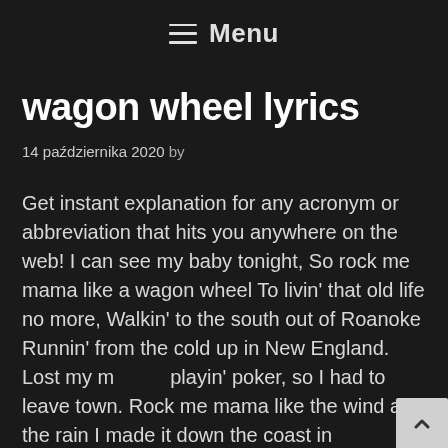☰ Menu
wagon wheel lyrics
14 października 2020 by
Get instant explanation for any acronym or abbreviation that hits you anywhere on the web! I can see my baby tonight, So rock me mama like a wagon wheel To livin' that old life no more, Walkin' to the south out of Roanoke Runnin' from the cold up in New England. Lost my m playin' poker, so I had to leave town. Rock me mama like the wind and the rain I made it down the coast in